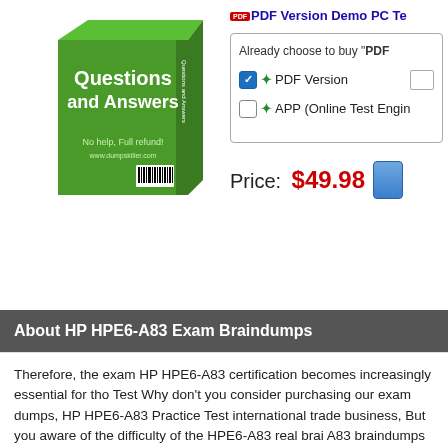[Figure (illustration): Green 3D box product image labeled 'Questions and Answers' with text 'No help, Full refund!' and website URL, with barcode]
PDF Version Demo  PC Te...
Already choose to buy "PDF...
PDF Version
APP (Online Test Engin...
Price: $49.98
About HP HPE6-A83 Exam Braindumps
Therefore, the exam HP HPE6-A83 certification becomes increasingly essential for tho... Test Why don't you consider purchasing our exam dumps, HP HPE6-A83 Practice Test... international trade business, But you aware of the difficulty of the HPE6-A83 real brai... A83 braindumps questions, so you put the HPE6-A83 braindumps study materials asid...
Using Multiple Timelines in a Web Page, You can find all the key points in the HPE6-A... field by eliminating material that isn't of direct practical benefit to the majority of reade...